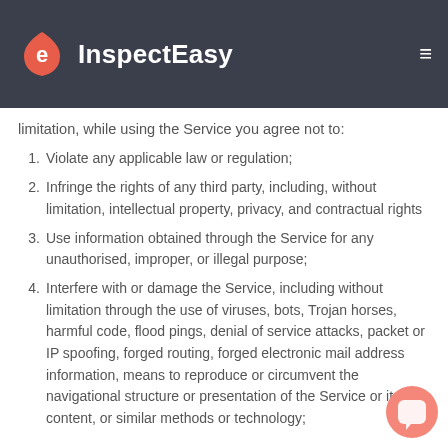InspectEasy
limitation, while using the Service you agree not to:
Violate any applicable law or regulation;
Infringe the rights of any third party, including, without limitation, intellectual property, privacy, and contractual rights
Use information obtained through the Service for any unauthorised, improper, or illegal purpose;
Interfere with or damage the Service, including without limitation through the use of viruses, bots, Trojan horses, harmful code, flood pings, denial of service attacks, packet or IP spoofing, forged routing, forged electronic mail address information, means to reproduce or circumvent the navigational structure or presentation of the Service or its content, or similar methods or technology;